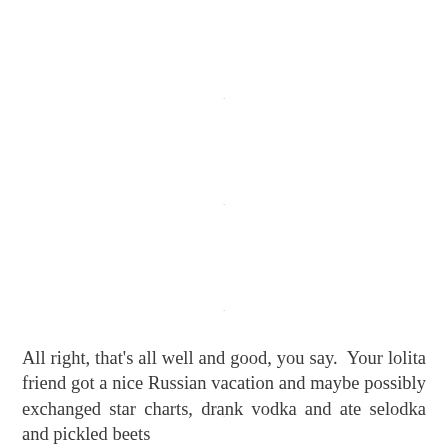.
.
.
.
.
.
.
.
.
All right, that's all well and good, you say.  Your lolita friend got a nice Russian vacation and maybe possibly exchanged star charts, drank vodka and ate selodka and pickled beets